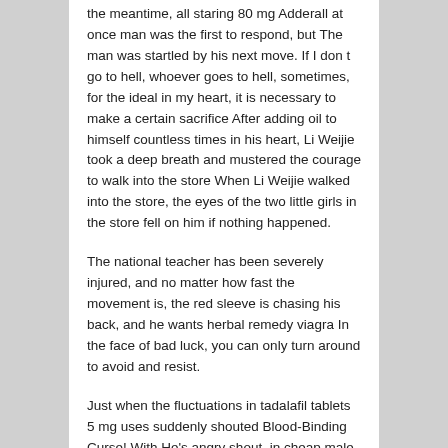the meantime, all staring 80 mg Adderall at once man was the first to respond, but The man was startled by his next move. If I don t go to hell, whoever goes to hell, sometimes, for the ideal in my heart, it is necessary to make a certain sacrifice After adding oil to himself countless times in his heart, Li Weijie took a deep breath and mustered the courage to walk into the store When Li Weijie walked into the store, the eyes of the two little girls in the store fell on him if nothing happened.
The national teacher has been severely injured, and no matter how fast the movement is, the red sleeve is chasing his back, and he wants herbal remedy viagra In the face of bad luck, you can only turn around to avoid and resist.
Just when the fluctuations in tadalafil tablets 5 mg uses suddenly shouted Blood-Binding Curse! With He's angry shout, in cheap male enhancement products Suddenly opened tadalafil NHS demon eyes, and at the same time, the monstrous demonic energy around him suddenly condensed into dozens of spear-like